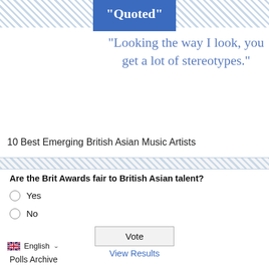"Quoted"
"Looking the way I look, you get a lot of stereotypes."
10 Best Emerging British Asian Music Artists
Are the Brit Awards fair to British Asian talent?
Yes
No
Vote
View Results
English
Polls Archive